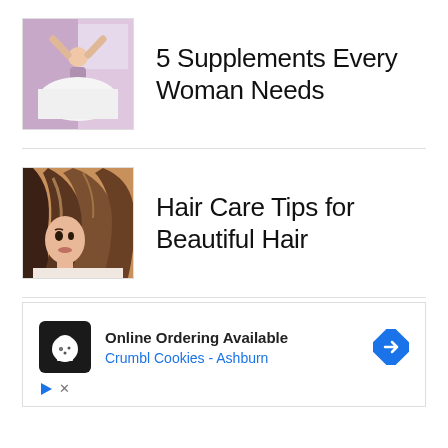[Figure (photo): Woman stretching arms up in bed with pink/purple curtains in background]
5 Supplements Every Woman Needs
[Figure (photo): Woman with long shiny brown hair, close-up portrait]
Hair Care Tips for Beautiful Hair
[Figure (other): Advertisement banner: Online Ordering Available, Crumbl Cookies - Ashburn, with cookie logo icon and direction arrow]